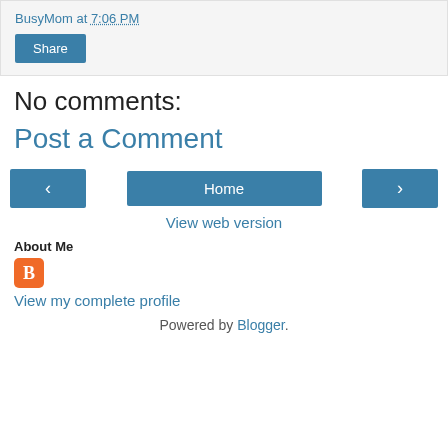BusyMom at 7:06 PM
Share
No comments:
Post a Comment
‹
Home
›
View web version
About Me
[Figure (logo): Blogger orange B icon]
View my complete profile
Powered by Blogger.